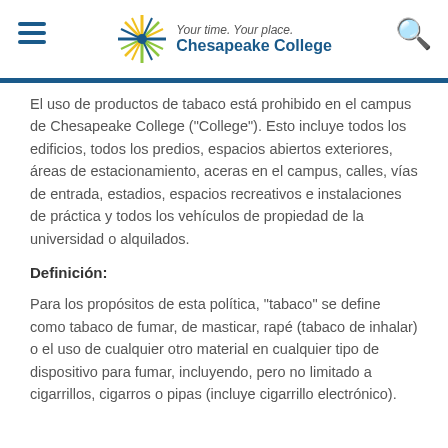Your time. Your place. Chesapeake College
El uso de productos de tabaco está prohibido en el campus de Chesapeake College ("College"). Esto incluye todos los edificios, todos los predios, espacios abiertos exteriores, áreas de estacionamiento, aceras en el campus, calles, vías de entrada, estadios, espacios recreativos e instalaciones de práctica y todos los vehículos de propiedad de la universidad o alquilados.
Definición:
Para los propósitos de esta política, "tabaco" se define como tabaco de fumar, de masticar, rapé (tabaco de inhalar) o el uso de cualquier otro material en cualquier tipo de dispositivo para fumar, incluyendo, pero no limitado a cigarrillos, cigarros o pipas (incluye cigarrillo electrónico).